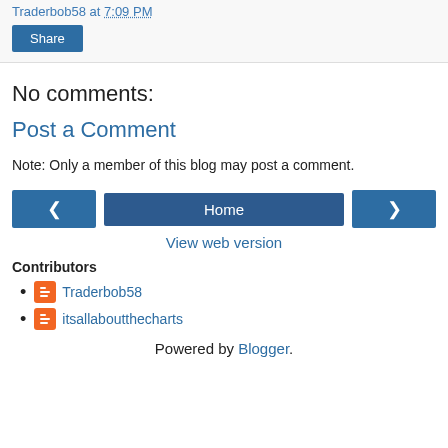Traderbob58 at 7:09 PM
[Figure (other): Share button (blue)]
No comments:
Post a Comment
Note: Only a member of this blog may post a comment.
[Figure (other): Navigation row with left arrow button, Home button, right arrow button]
View web version
Contributors
Traderbob58
itsallaboutthecharts
Powered by Blogger.